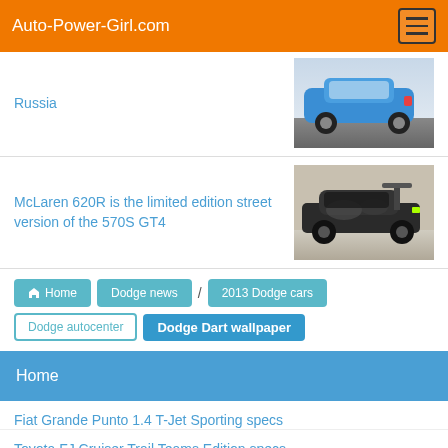Auto-Power-Girl.com
Russia
[Figure (photo): Blue sedan car viewed from rear, on a road]
McLaren 620R is the limited edition street version of the 570S GT4
[Figure (photo): Dark McLaren sports car on a race circuit]
Home
Dodge news
2013 Dodge cars
Dodge autocenter
Dodge Dart wallpaper
Home
Fiat Grande Punto 1.4 T-Jet Sporting specs
Toyota FJ Cruiser Trail Teams Edition specs